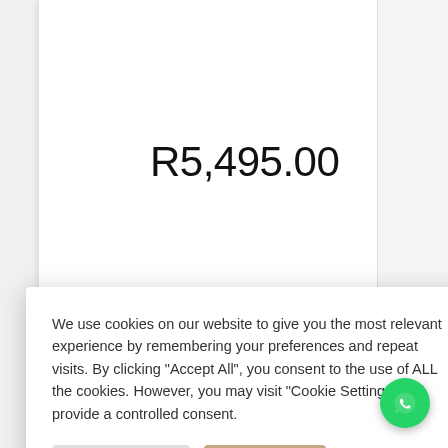R5,495.00
We use cookies on our website to give you the most relevant experience by remembering your preferences and repeat visits. By clicking "Accept All", you consent to the use of ALL the cookies. However, you may visit "Cookie Settings" to provide a controlled consent.
Cookie Settings
Accept All
Pedestal